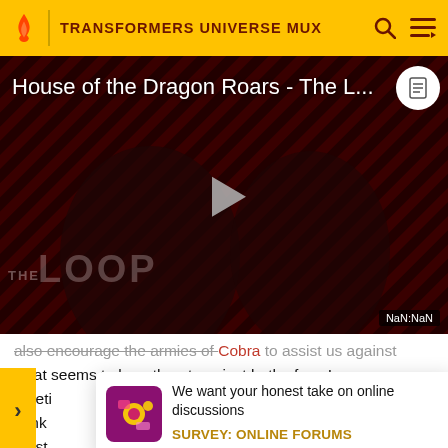TRANSFORMERS UNIVERSE MUX
[Figure (screenshot): Video thumbnail for 'House of the Dragon Roars - The L...' showing dark figures with diagonal striped background, THE LOOP text, play button, and NaN:NaN time indicator]
also encourage the armies of Cobra to assist us against what seems to be a threat against both of us. In our meeti... think... must... to the A...
[Figure (infographic): Survey popup: 'We want your honest take on online discussions' with 'SURVEY: ONLINE FORUMS' label and purple icon]